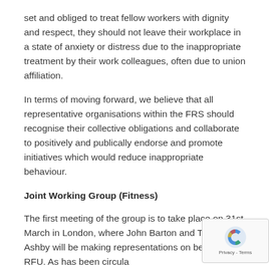set and obliged to treat fellow workers with dignity and respect, they should not leave their workplace in a state of anxiety or distress due to the inappropriate treatment by their work colleagues, often due to union affiliation.
In terms of moving forward, we believe that all representative organisations within the FRS should recognise their collective obligations and collaborate to positively and publically endorse and promote initiatives which would reduce inappropriate behaviour.
Joint Working Group (Fitness)
The first meeting of the group is to take place on 31st March in London, where John Barton and Tristan Ashby will be making representations on behalf of the RFU. As has been circulated previously, we do have concerns over the inconsistencies regarding provision of equipment and support available